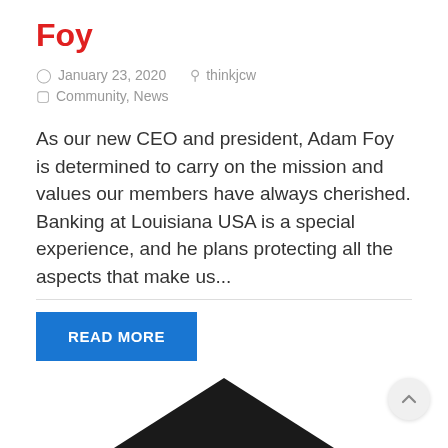Foy
January 23, 2020   thinkjcw
Community, News
As our new CEO and president, Adam Foy is determined to carry on the mission and values our members have always cherished. Banking at Louisiana USA is a special experience, and he plans protecting all the aspects that make us...
READ MORE
[Figure (illustration): Partial black silhouette/logo image visible at bottom of page]